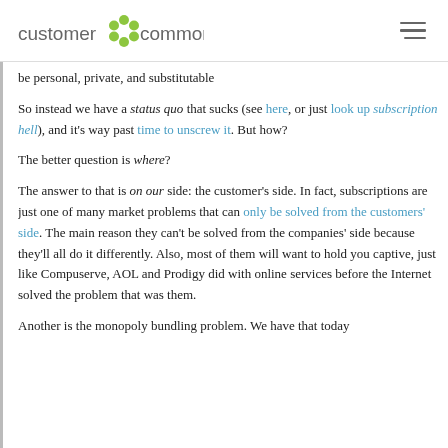customer commons
be personal, private, and substitutable
So instead we have a status quo that sucks (see here, or just look up subscription hell), and it's way past time to unscrew it. But how?
The better question is where?
The answer to that is on our side: the customer's side. In fact, subscriptions are just one of many market problems that can only be solved from the customers' side. The main reason they can't be solved from the companies' side because they'll all do it differently. Also, most of them will want to hold you captive, just like Compuserve, AOL and Prodigy did with online services before the Internet solved the problem that was them.
Another is the monopoly bundling problem. We have that today